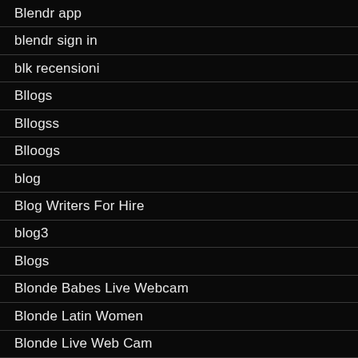Blendr app
blendr sign in
blk recensioni
Bllogs
Bllogss
Blloogs
blog
Blog Writers For Hire
blog3
Blogs
Blonde Babes Live Webcam
Blonde Latin Women
Blonde Live Web Cam